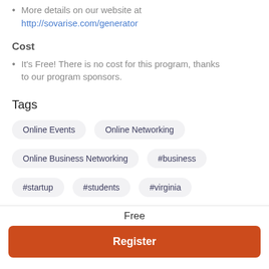More details on our website at http://sovarise.com/generator
Cost
It's Free! There is no cost for this program, thanks to our program sponsors.
Tags
Online Events
Online Networking
Online Business Networking
#business
#startup
#students
#virginia
Free
Register